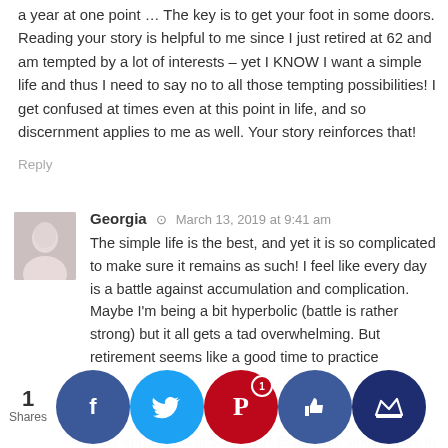a year at one point … The key is to get your foot in some doors. Reading your story is helpful to me since I just retired at 62 and am tempted by a lot of interests – yet I KNOW I want a simple life and thus I need to say no to all those tempting possibilities! I get confused at times even at this point in life, and so discernment applies to me as well. Your story reinforces that!
Reply
Georgia · March 13, 2019 at 9:41 am
The simple life is the best, and yet it is so complicated to make sure it remains as such! I feel like every day is a battle against accumulation and complication. Maybe I'm being a bit hyperbolic (battle is rather strong) but it all gets a tad overwhelming. But retirement seems like a good time to practice cultivating interests with... discernment.....
Very impressed at 50K/year! Especially since it was in your pjs! It's so difficult to stay motivated in the jammies.
[Figure (infographic): Social sharing bar with 1 Shares count on the left, followed by circular social media buttons: Facebook (blue), Twitter (light blue), Pinterest (red, badge showing 1), a thumbs-up/like button (dark blue), and a crown/save button (dark navy blue).]